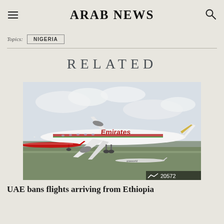ARAB NEWS
Topics: NIGERIA
RELATED
[Figure (photo): An Emirates Boeing aircraft taking off, with a Qantas plane and a oneworld aircraft in the background on the tarmac. View count overlay shows 20572.]
UAE bans flights arriving from Ethiopia